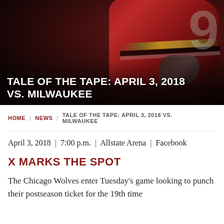[Figure (photo): Hockey player in dark red/maroon jersey with gold and black stripes, number partially visible, action pose against dark atmospheric background]
TALE OF THE TAPE: APRIL 3, 2018 VS. MILWAUKEE
HOME | NEWS | TALE OF THE TAPE: APRIL 3, 2018 VS. MILWAUKEE
April 3, 2018 | 7:00 p.m. | Allstate Arena | Facebook
X MARKS THE SPOT
The Chicago Wolves enter Tuesday's game looking to punch their postseason ticket for the 19th time